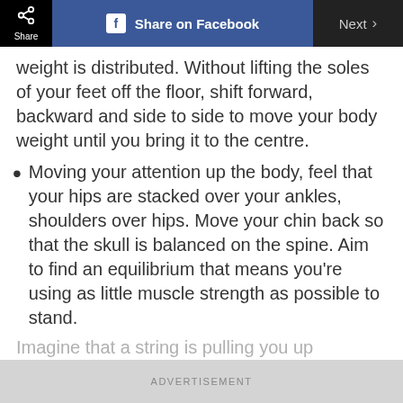Share | Share on Facebook | Next
weight is distributed. Without lifting the soles of your feet off the floor, shift forward, backward and side to side to move your body weight until you bring it to the centre.
Moving your attention up the body, feel that your hips are stacked over your ankles, shoulders over hips. Move your chin back so that the skull is balanced on the spine. Aim to find an equilibrium that means you’re using as little muscle strength as possible to stand.
Imagine that a string is pulling you up
ADVERTISEMENT